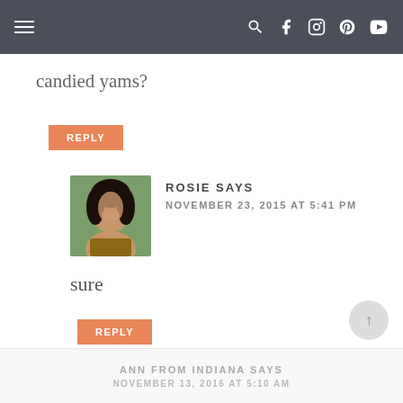Navigation bar with hamburger menu and social icons
candied yams?
REPLY
ROSIE SAYS
NOVEMBER 23, 2015 AT 5:41 PM
sure
REPLY
ANN FROM INDIANA SAYS NOVEMBER 13, 2016 AT 5:10 AM